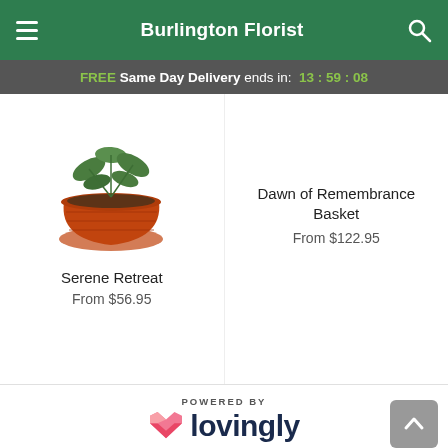Burlington Florist
FREE Same Day Delivery ends in: 13:59:08
[Figure (photo): Product photo of a plant in a terracotta pot (Serene Retreat)]
Serene Retreat
From $56.95
Dawn of Remembrance Basket
From $122.95
[Figure (logo): Lovingly logo with pink heart icon and dark navy text, with POWERED BY above it]
Burlington Florist is a Lovingly Momentmaker in Burlington, MA.
Buying local matters. Discover how Lovingly is committed to strengthening relationships by helping local florists market, sell, and deliver their floral designs online.